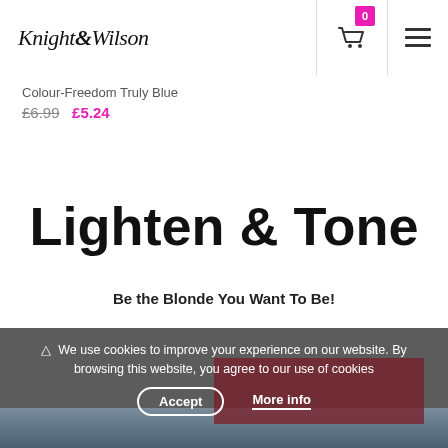Knight & Wilson
Colour-Freedom Truly Blue
£6.99  £5.24
Lighten & Tone
Be the Blonde You Want To Be!
⚠ We use cookies to improve your experience on our website. By browsing this website, you agree to our use of cookies
Accept   More info